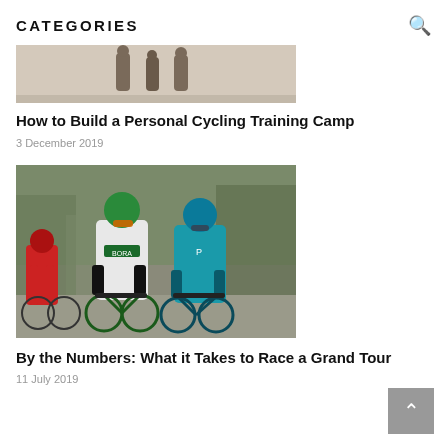CATEGORIES
[Figure (photo): Partially cropped photo of cyclists at top of page]
How to Build a Personal Cycling Training Camp
3 December 2019
[Figure (photo): Two professional cyclists racing, one in BORA kit with green helmet, one in Astana kit in blue]
By the Numbers: What it Takes to Race a Grand Tour
11 July 2019